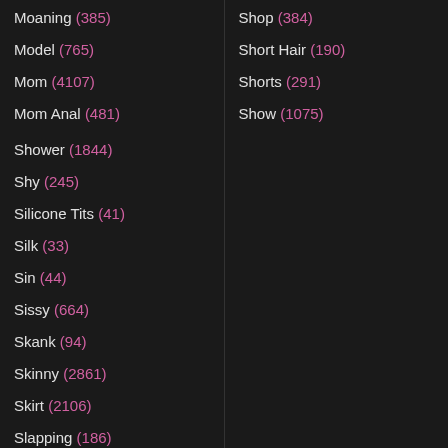Moaning (385)
Model (765)
Mom (4107)
Mom Anal (481)
Shower (1844)
Shy (245)
Silicone Tits (41)
Silk (33)
Sin (44)
Sissy (664)
Skank (94)
Skinny (2861)
Skirt (2106)
Slapping (186)
Slave (2205)
Slim (648)
Shop (384)
Short Hair (190)
Shorts (291)
Show (1075)